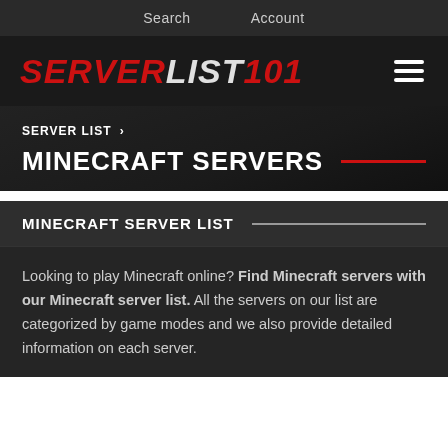Search   Account
SERVERLIST101
SERVER LIST ›
MINECRAFT SERVERS
MINECRAFT SERVER LIST
Looking to play Minecraft online? Find Minecraft servers with our Minecraft server list. All the servers on our list are categorized by game modes and we also provide detailed information on each server.